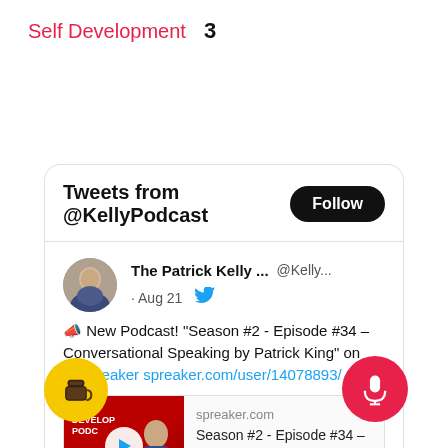Self Development   3
[Figure (screenshot): Twitter/X widget showing tweets from @KellyPodcast with a Follow button, tweet by The Patrick Kelly... @Kelly... Aug 21 about New Podcast Season #2 Episode #34 Conversational Speaking by Patrick King on @Spreaker, with a Spreaker.com preview card showing podcast artwork and play button, heart/comment action icons, and a second tweet beginning from The Patrick Kelly... @Kelly... Aug 21 about New Episode Season #2 Episode #34, plus floating yellow coffee cup FAB and red microphone FAB buttons.]